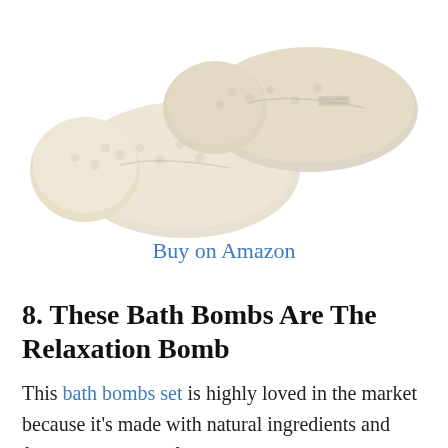[Figure (photo): A pair of cream/beige fluffy slippers photographed from above against a white background, partially cropped at the top of the page.]
Buy on Amazon
8. These Bath Bombs Are The Relaxation Bomb
This bath bombs set is highly loved in the market because it’s made with natural ingredients and fizzes and soothes for the most relaxing bath experience ever. It comes with 12 unique scents